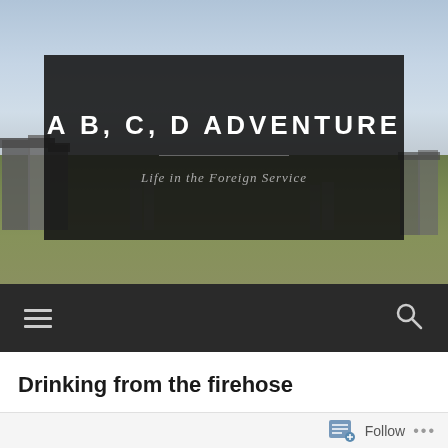[Figure (photo): Background photo of Stonehenge with sky and green grass, partially overlaid by a dark semi-transparent panel]
A B, C, D ADVENTURE
Life in the Foreign Service
[Figure (other): Dark navigation bar with hamburger menu icon on left and search/magnifying glass icon on right]
Drinking from the firehose
Follow ...